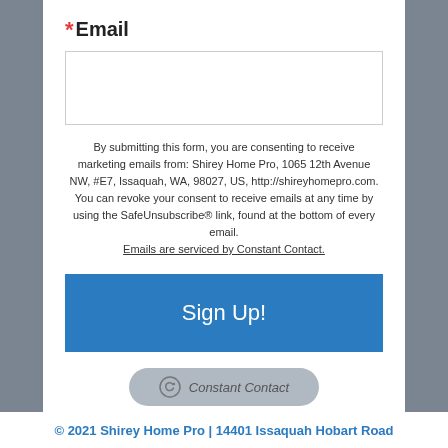* Email
By submitting this form, you are consenting to receive marketing emails from: Shirey Home Pro, 1065 12th Avenue NW, #E7, Issaquah, WA, 98027, US, http://shireyhomepro.com. You can revoke your consent to receive emails at any time by using the SafeUnsubscribe® link, found at the bottom of every email. Emails are serviced by Constant Contact.
[Figure (screenshot): Blue Sign Up! button]
[Figure (logo): Constant Contact badge/logo button]
© 2021 Shirey Home Pro | 14401 Issaquah Hobart Road